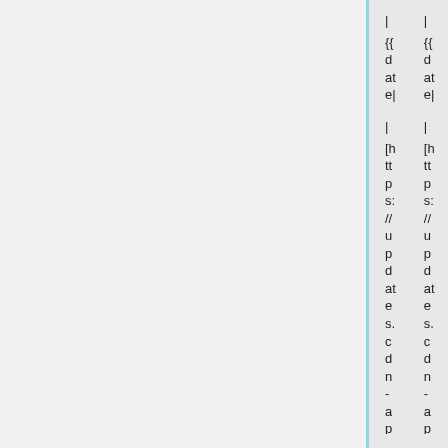| {{date|2018|12|05}}
| {{date|2018|12|05}}
| [https://updates.cdn-apple.com/2018FallFCS/fullrestores/041-05249/5862D40C-E9F9-11E8-9B15-8FC0A3508245/iPhone11,8_12.1.1_16C50_Restore.ipsw iPhone11,8_12.1.1_16C50_Restore.ipsw]
| [https://updates.cdn-apple.com/2018FallFCS/fullrestores/041-05249/5862D40C-E9F9-11E8-9B15-8FC0A3508245/iPhone11,8_12.1.1_16C50_Restore.ipsw iPhone11,8_12.1.1_16C50_Restore.ipsw]
| <code>cea557de
| <code>cea557de